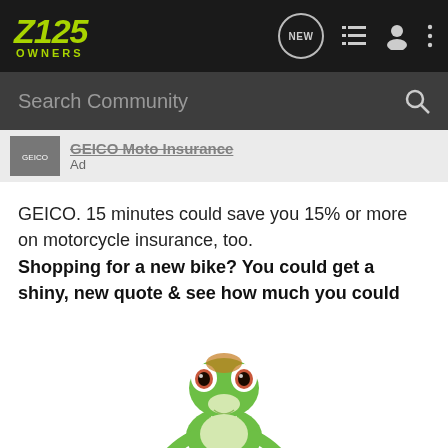Z125 OWNERS
Search Community
GEICO Moto Insurance
Ad
GEICO. 15 minutes could save you 15% or more on motorcycle insurance, too.
Shopping for a new bike? You could get a shiny, new quote & see how much you could save.
[Figure (illustration): GEICO gecko mascot — a green lizard looking at the camera, facing forward with arms slightly outstretched, on a white background]